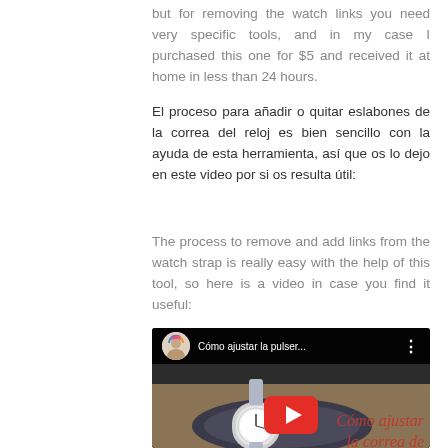but for removing the watch links you need very specific tools, and in my case I purchased this one for $5 and received it at home in less than 24 hours.
El proceso para añadir o quitar eslabones de la correa del reloj es bien sencillo con la ayuda de esta herramienta, así que os lo dejo en este video por si os resulta útil:
The process to remove and add links from the watch strap is really easy with the help of this tool, so here is a video in case you find it useful:
[Figure (screenshot): Embedded YouTube video thumbnail showing a watch on a dark surface with Spanish text overlay 'Cómo ajustar la correa de un relo...' and a red play button. Top bar shows channel avatar and title 'Cómo ajustar la pulser...']